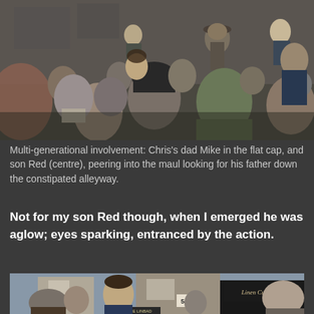[Figure (photo): A crowd of people, multi-generational, outdoors in a street setting. People wearing winter clothing including flat caps and beanies. The scene appears to be a rugby maul or street gathering.]
Multi-generational involvement: Chris's dad Mike in the flat cap, and son Red (centre), peering into the maul looking for his father down the constipated alleyway.
Not for my son Red though, when I emerged he was aglow; eyes sparking, entranced by the action.
[Figure (photo): Street scene with people in a crowd. A shop sign reading 'Linen Cupboard' is visible on the right side. A number '54' sign is visible. People appear to be involved in a street rugby or gathering event.]